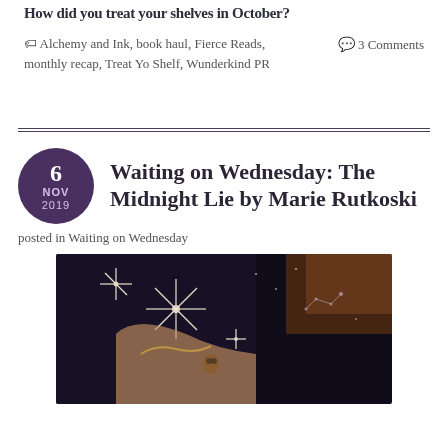How did you treat your shelves in October?
🏷 Alchemy and Ink, book haul, Fierce Reads, monthly recap, Treat Yo Shelf, Wunderkind PR
💬 3 Comments
Waiting on Wednesday: The Midnight Lie by Marie Rutkoski
posted in Waiting on Wednesday
[Figure (photo): Book cover image showing sparkles and decorative elements on a dark background]